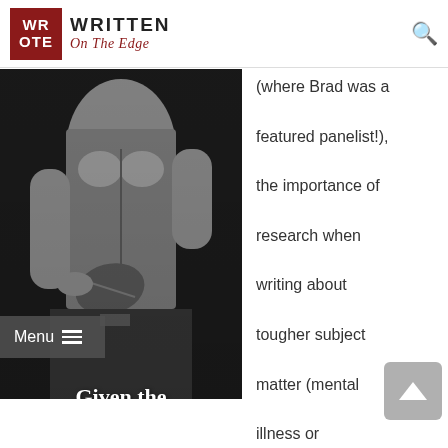WR OTE | WRITTEN On The Edge
[Figure (photo): Black and white photo of a shirtless man holding a rugby/American football, with overlaid book title 'Given the Circumstances'. A dark menu bar overlay reads 'Menu ≡' at the left side.]
(where Brad was a featured panelist!), the importance of research when writing about tougher subject matter (mental illness or homophobia, for example), making the shift from MM Romance/Erotica to more mainstream fare, reader